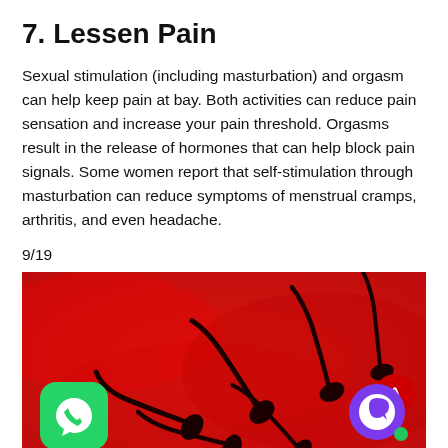7. Lessen Pain
Sexual stimulation (including masturbation) and orgasm can help keep pain at bay. Both activities can reduce pain sensation and increase your pain threshold. Orgasms result in the release of hormones that can help block pain signals. Some women report that self-stimulation through masturbation can reduce symptoms of menstrual cramps, arthritis, and even headache.
9/19
[Figure (photo): A red background image showing dark sperm-like shapes against a vivid red textured surface, with a WhatsApp icon in the bottom-left corner and a purple chat bubble icon in the bottom-right corner.]